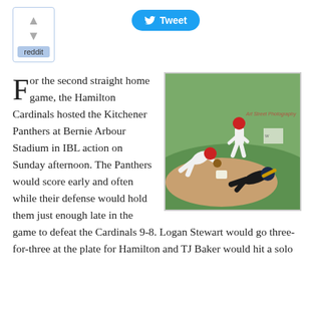[Figure (other): Reddit voting widget with up and down arrows and 'reddit' label]
[Figure (other): Twitter Tweet button in blue with bird icon]
[Figure (photo): Baseball action photo showing two players in white Cardinals uniforms and one base runner in dark uniform sliding into base at Bernie Arbour Stadium]
For the second straight home game, the Hamilton Cardinals hosted the Kitchener Panthers at Bernie Arbour Stadium in IBL action on Sunday afternoon. The Panthers would score early and often while their defense would hold them just enough late in the game to defeat the Cardinals 9-8. Logan Stewart would go three-for-three at the plate for Hamilton and TJ Baker would hit a solo